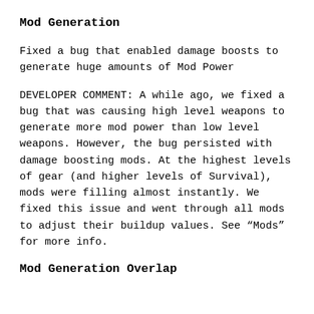Mod Generation
Fixed a bug that enabled damage boosts to generate huge amounts of Mod Power
DEVELOPER COMMENT: A while ago, we fixed a bug that was causing high level weapons to generate more mod power than low level weapons. However, the bug persisted with damage boosting mods. At the highest levels of gear (and higher levels of Survival), mods were filling almost instantly. We fixed this issue and went through all mods to adjust their buildup values. See “Mods” for more info.
Mod Generation Overlap